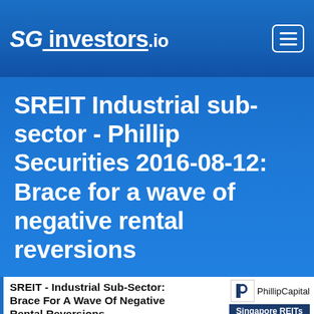SG investors.io
SREIT Industrial sub-sector - Phillip Securities 2016-08-12: Brace for a wave of negative rental reversions
SREIT - Industrial Sub-Sector: Brace For A Wave Of Negative Rental Reversions
[Figure (logo): PhillipCapital logo with P icon and Singapore REITs badge]